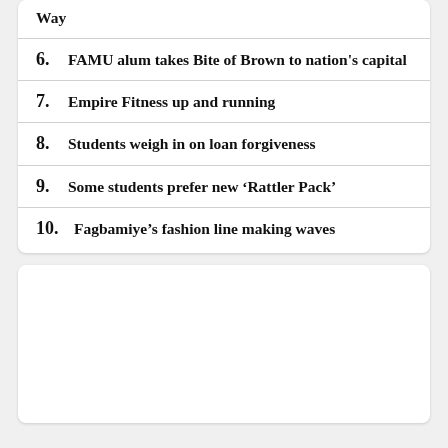Way
6. FAMU alum takes Bite of Brown to nation's capital
7. Empire Fitness up and running
8. Students weigh in on loan forgiveness
9. Some students prefer new ‘Rattler Pack’
10. Fagbamiye’s fashion line making waves